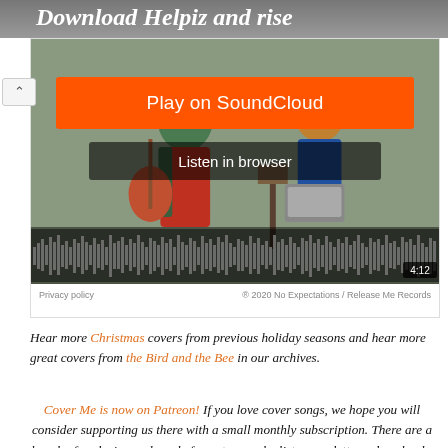[Figure (screenshot): Partial banner showing 'Download Helpiz and rise' text on dark background]
[Figure (screenshot): SoundCloud embedded player widget showing illustrated musicians artwork, Play on SoundCloud orange button, Listen in browser button, audio waveform, timer showing 4:12, privacy policy and copyright notice '® 2020 No Expectations / Release Me Records']
Hear more Christmas covers from previous holiday seasons and hear more great covers from the Bird and the Bee in our archives.
Cover Me is now on Patreon! If you love cover songs, we hope you will consider supporting us there with a small monthly subscription. There are a bunch of exclusive perks only for patrons: playlists, newsletters, downloads, discussions, polls - hell, tell us what song you would like to